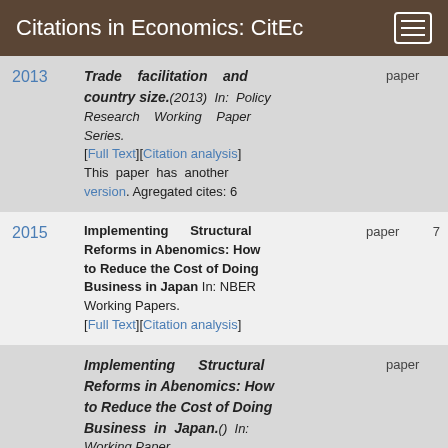Citations in Economics: CitEc
Trade facilitation and country size.(2013) In: Policy Research Working Paper Series. paper [Full Text][Citation analysis] This paper has another version. Agregated cites: 6
Implementing Structural Reforms in Abenomics: How to Reduce the Cost of Doing Business in Japan In: NBER Working Papers. [Full Text][Citation analysis] paper 7
Implementing Structural Reforms in Abenomics: How to Reduce the Cost of Doing Business in Japan.() In: Working Paper. paper